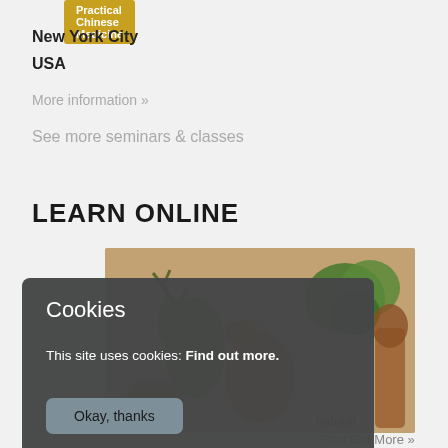Practical Chinese Medicine
New York City
USA
More information »
See more seminars & classes
LEARN ONLINE
[Figure (photo): Decorative photo showing ceramic animal figurines and plant-like sculptures with a warm beige/brown background.]
natural
...Find Out More »
Cookies
This site uses cookies: Find out more.
Okay, thanks